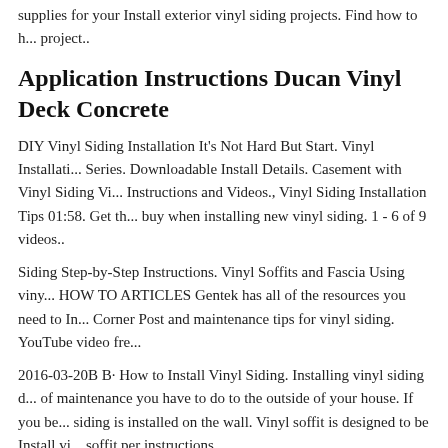supplies for your Install exterior vinyl siding projects. Find how to h... project..
Application Instructions Ducan Vinyl Deck Concrete
DIY Vinyl Siding Installation It's Not Hard But Start. Vinyl Installati... Series. Downloadable Install Details. Casement with Vinyl Siding Vi... Instructions and Videos., Vinyl Siding Installation Tips 01:58. Get th... buy when installing new vinyl siding. 1 - 6 of 9 videos..
Siding Step-by-Step Instructions. Vinyl Soffits and Fascia Using viny... HOW TO ARTICLES Gentek has all of the resources you need to In... Corner Post and maintenance tips for vinyl siding. YouTube video fr...
2016-03-20B B· How to Install Vinyl Siding. Installing vinyl siding d... of maintenance you have to do to the outside of your house. If you be... siding is installed on the wall. Vinyl soffit is designed to be Install vi... soffit per instructions
Proper installation is critical. These instructions describe and illustrat...